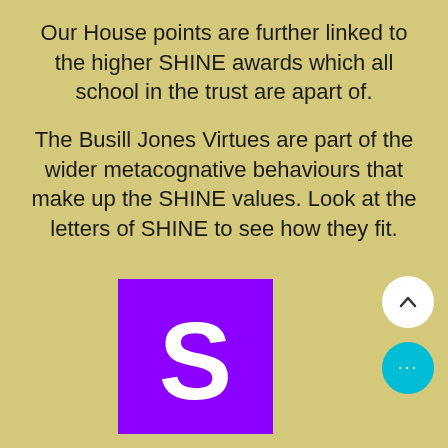Our House points are further linked to the higher SHINE awards which all school in the trust are apart of.

The Busill Jones Virtues are part of the wider metacognative behaviours that make up the SHINE values. Look at the letters of SHINE to see how they fit.
[Figure (logo): Purple square with a large white letter S in the center, representing the S in SHINE.]